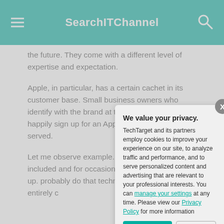SearchITChannel
the future. They come with a different level of expertise and expectation.
Apple, in particular, has a certain cachet in its customer base. Small business owners who identify with the brand at the high end may just happily sign up for an Apple plan, parti being served.
Let me observe example. I run a would write a ch included and for occasionally nee they'll show up. probably do that technologist. I'll who is entirely c
[Figure (screenshot): Privacy consent modal dialog with title 'We value your privacy.' and text from TechTarget about cookies, with links to 'manage your settings' and 'Privacy Policy', and OK and Settings buttons.]